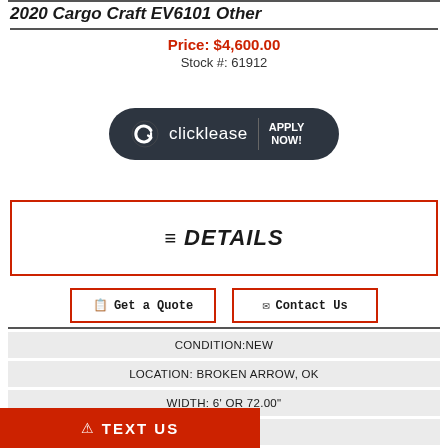2020 Cargo Craft EV6101 Other
Price: $4,600.00
Stock #: 61912
[Figure (logo): Clicklease apply now button logo on dark rounded background]
≔ DETAILS
Get a Quote
Contact Us
CONDITION:NEW
LOCATION: BROKEN ARROW, OK
WIDTH: 6' OR 72.00"
GVWR:3500
TEXT US